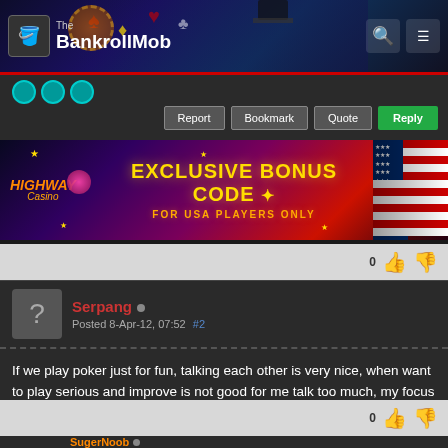[Figure (screenshot): BankrollMob website header with logo, casino card game imagery, search icon and menu icon]
[Figure (screenshot): Top of a forum post with teal dot icons and action buttons: Report, Bookmark, Quote, Reply]
[Figure (screenshot): Highway Casino advertisement banner: EXCLUSIVE BONUS CODE FOR USA PLAYERS ONLY with US flag]
If we play poker just for fun, talking each other is very nice, when want to play serious and improve is not good for me talk too much, my focus and concentration will be damage and play bad. Depend on character each person, I think.
[Figure (screenshot): Forum post by Serpang, Posted 8-Apr-12, 07:52 #2, with Reply buttons]